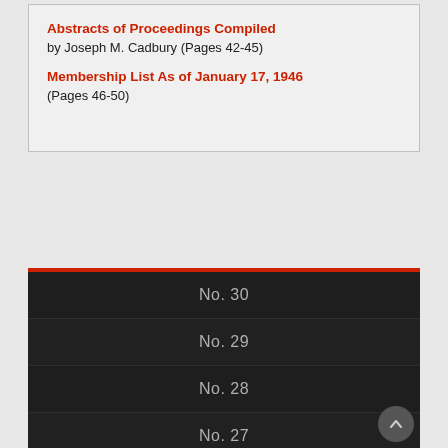Abstracts of Proceedings Compiled
by Joseph M. Cadbury (Pages 42-45)
Membership List As of January 17, 1946
(Pages 46-50)
No. 30
No. 29
No. 28
No. 27
No. 26